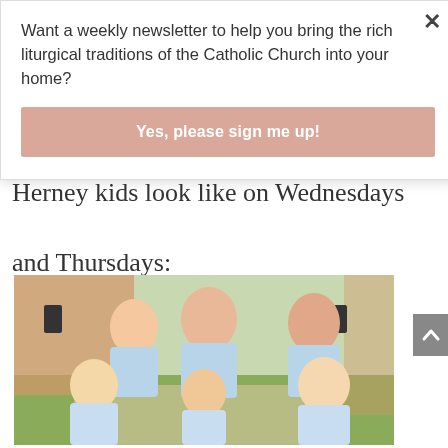Want a weekly newsletter to help you bring the rich liturgical traditions of the Catholic Church into your home?
Yes, please sign me up!
Herney kids look like on Wednesdays and Thursdays:
[Figure (photo): Group photo of six children wearing matching light blue polo shirts, sitting together outdoors in front of a building with green grass and plants in the background.]